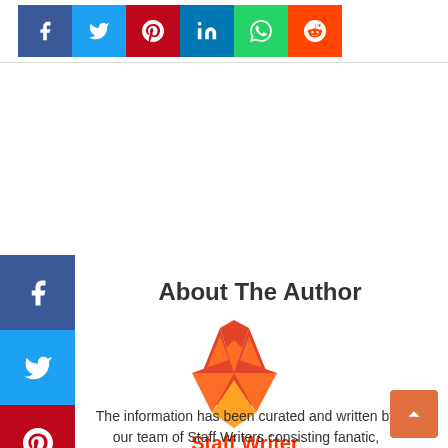[Figure (screenshot): Social media share icons strip at top: Facebook (blue), Twitter (light blue), Pinterest (red), LinkedIn (blue), WhatsApp (green), Reddit (orange-red)]
About The Author
[Figure (logo): GitLab fox logo - stylized fox face made of geometric shapes in pink, magenta, and orange]
Staff Writer
The information has been curated and written by our team of Staff Writers consisting fanatic, gossiper, tale-